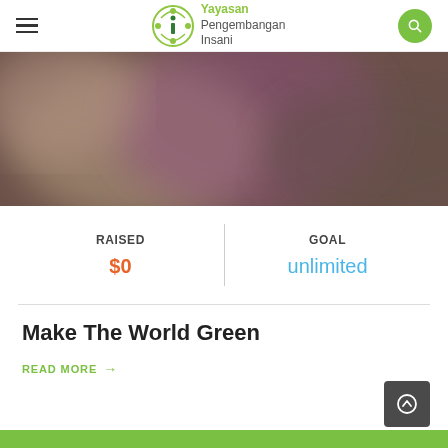Yayasan Pengembangan Insani
[Figure (photo): Blurred colorful background image with purple and earth tones]
| RAISED | GOAL |
| --- | --- |
| $0 | unlimited |
Make The World Green
READ MORE →